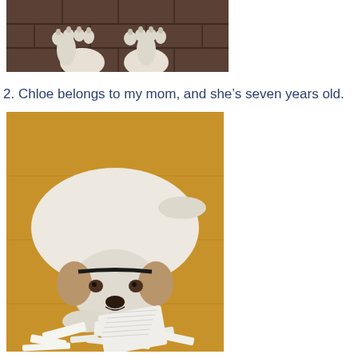[Figure (photo): Close-up photo of white dog paws resting on a dark brick or stone surface, viewed from above.]
2. Chloe belongs to my mom, and she’s seven years old.
[Figure (photo): Photo of a white short-haired dog with brown ear patches lying on a wooden floor surrounded by shredded paper scraps, with a partially chewed book in front of it.]